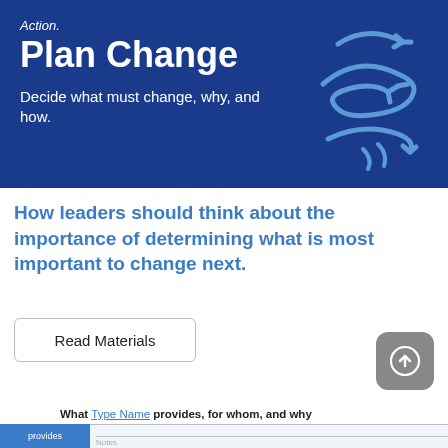[Figure (illustration): Dark blue banner with 'Action. Plan Change' title, subtitle 'Decide what must change, why, and how.' and a decorative light blue arrow/swirl graphic on the right side.]
How leaders should think about the importance of determining what is most important to change next.
Read Materials
[Figure (other): Gray rounded square button with white upward arrow icon (upload/share button)]
What Type Name provides, for whom, and why
| provides | Notes |
| --- | --- |
|  |  |